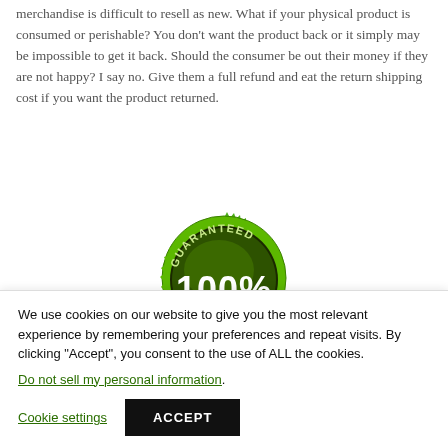merchandise is difficult to resell as new. What if your physical product is consumed or perishable? You don't want the product back or it simply may be impossible to get it back. Should the consumer be out their money if they are not happy? I say no. Give them a full refund and eat the return shipping cost if you want the product returned.
[Figure (illustration): A green circular guarantee badge/seal with serrated edges, showing 'GUARANTEED' text arched along the top and '100%' in large white text in the center, with small star decorations.]
We use cookies on our website to give you the most relevant experience by remembering your preferences and repeat visits. By clicking "Accept", you consent to the use of ALL the cookies.
Do not sell my personal information.
Cookie settings   ACCEPT